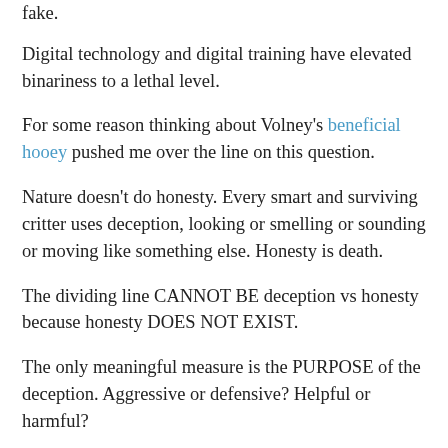fake.
Digital technology and digital training have elevated binariness to a lethal level.
For some reason thinking about Volney's beneficial hooey pushed me over the line on this question.
Nature doesn't do honesty. Every smart and surviving critter uses deception, looking or smelling or sounding or moving like something else. Honesty is death.
The dividing line CANNOT BE deception vs honesty because honesty DOES NOT EXIST.
The only meaningful measure is the PURPOSE of the deception. Aggressive or defensive? Helpful or harmful?
When a deception is aggressive or harmful, you need to break it down and observe** the underlying reality so you can defend yourself against the aggression, or at least stop HELPING the aggressor. Stings and false flags by Sorosian